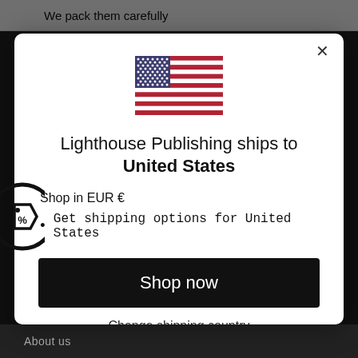We pack them carefully
[Figure (illustration): US flag icon - American flag with red and white stripes and blue canton with white stars]
Lighthouse Publishing ships to United States
Shop in EUR €
Get shipping options for United States
Shop now
Change shipping country
About us